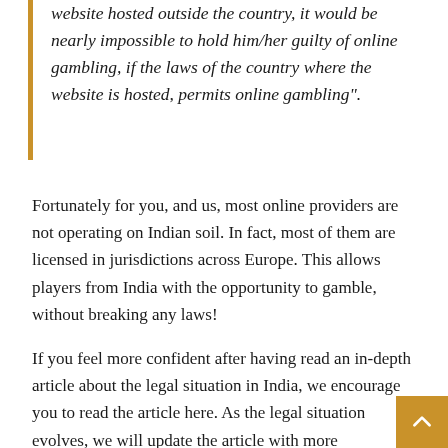website hosted outside the country, it would be nearly impossible to hold him/her guilty of online gambling, if the laws of the country where the website is hosted, permits online gambling".
Fortunately for you, and us, most online providers are not operating on Indian soil. In fact, most of them are licensed in jurisdictions across Europe. This allows players from India with the opportunity to gamble, without breaking any laws!
If you feel more confident after having read an in-depth article about the legal situation in India, we encourage you to read the article here. As the legal situation evolves, we will update the article with more information, there will, therefore, always be a reason to return to Bettingpartner for the latest news!